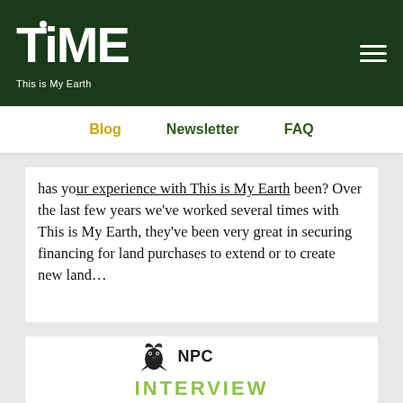[Figure (logo): TIME - This is My Earth logo in white on dark green background with hamburger menu icon]
Blog  Newsletter  FAQ
has your experience with This is My Earth been? Over the last few years we've worked several times with This is My Earth, they've been very great in securing financing for land purchases to extend or to create new land…
[Figure (logo): NPC logo with bird illustration above INTERVIEW text in green]
INTERVIEW